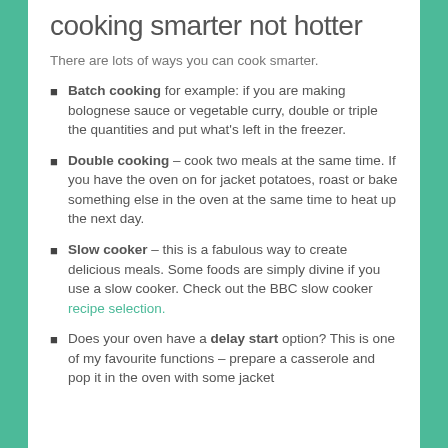cooking smarter not hotter
There are lots of ways you can cook smarter.
Batch cooking for example: if you are making bolognese sauce or vegetable curry, double or triple the quantities and put what's left in the freezer.
Double cooking – cook two meals at the same time. If you have the oven on for jacket potatoes, roast or bake something else in the oven at the same time to heat up the next day.
Slow cooker – this is a fabulous way to create delicious meals. Some foods are simply divine if you use a slow cooker. Check out the BBC slow cooker recipe selection.
Does your oven have a delay start option? This is one of my favourite functions – prepare a casserole and pop it in the oven with some jacket